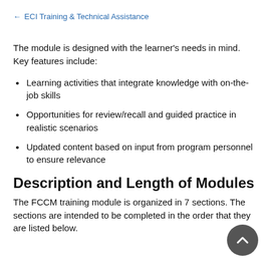← ECI Training & Technical Assistance
The module is designed with the learner's needs in mind. Key features include:
Learning activities that integrate knowledge with on-the-job skills
Opportunities for review/recall and guided practice in realistic scenarios
Updated content based on input from program personnel to ensure relevance
Description and Length of Modules
The FCCM training module is organized in 7 sections. The sections are intended to be completed in the order that they are listed below.